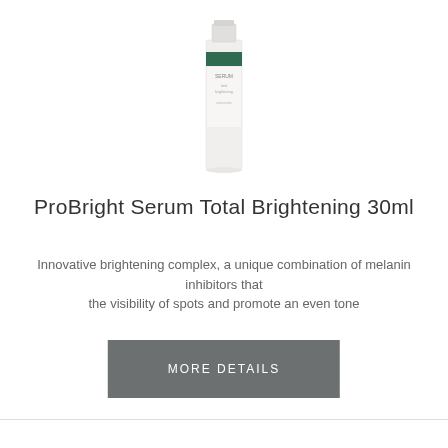[Figure (photo): ProBright Serum product bottle - a small glass vial with white label showing 'PROBRIGHT SERUM total brightening' text and a dark green band near the top]
ProBright Serum Total Brightening 30ml
Innovative brightening complex, a unique combination of melanin inhibitors that the visibility of spots and promote an even tone
MORE DETAILS